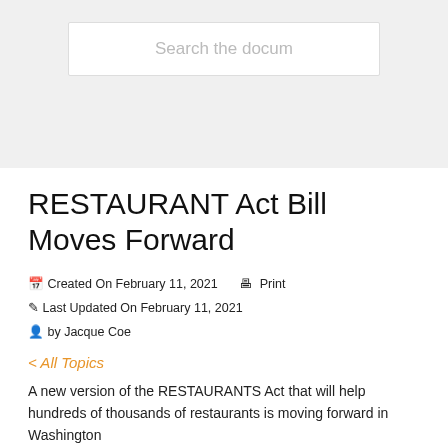[Figure (screenshot): Gray header area with a search input box containing placeholder text 'Search the docum']
RESTAURANT Act Bill Moves Forward
Created On February 11, 2021   Print
Last Updated On February 11, 2021
by Jacque Coe
< All Topics
A new version of the RESTAURANTS Act that will help hundreds of thousands of restaurants is moving forward in Washington